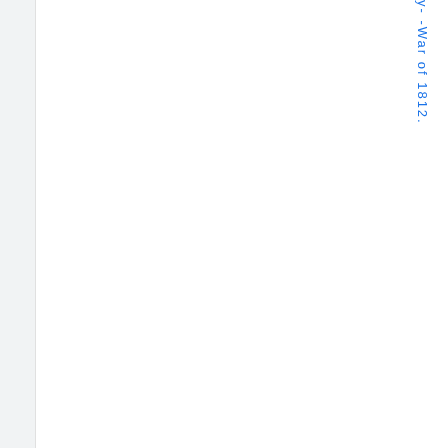y--War of 1812.
Form/genre
Sermons
Place
United S